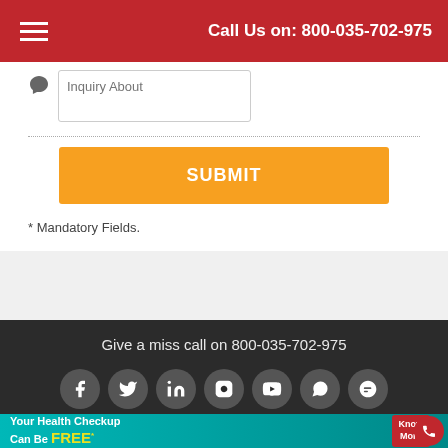Call Us on: 800-035-702-975
Inquiry About
SUBMIT
* Mandatory Fields.
Give a miss call on 800-035-702-975
© 2021 - 2022 All Rights Reserved with
Indus Health Plus
[Figure (infographic): Health checkup banner: 'Your Health Checkup Can Be FREE* Know More T&C Apply' with teal background, a woman in blue jacket, and a red Know More button]